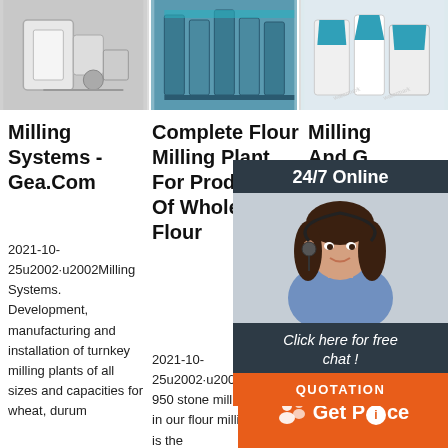[Figure (photo): Three product/industrial photos in a row showing milling machinery and equipment]
Milling Systems - Gea.Com
2021-10-25u2002·u2002Milling Systems. Development, manufacturing and installation of turnkey milling plants of all sizes and capacities for wheat, durum
Complete Flour Milling Plant For Production Of Wholemeal Flour
2021-10-25u2002·u2002Grindmaster 950 stone mill. The heart in our flour milling plants is the
Milling And G...
Pr... co... pr... wh... co... M...
[Figure (photo): 24/7 Online chat overlay with customer service representative (woman with headset) and orange QUOTATION button]
[Figure (infographic): Orange Get Price button with icon at bottom right]